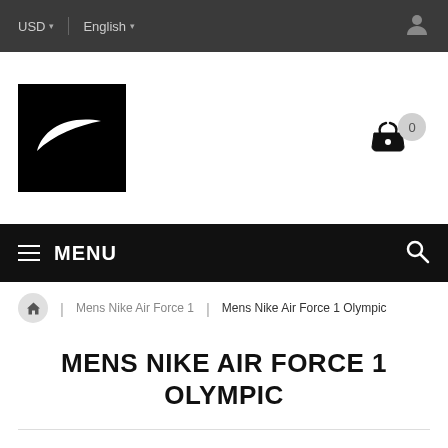USD  English
[Figure (logo): Nike swoosh logo on black background square]
MENU
Mens Nike Air Force 1 | Mens Nike Air Force 1 Olympic
MENS NIKE AIR FORCE 1 OLYMPIC